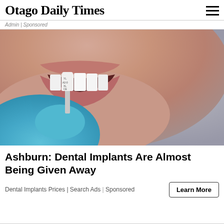Otago Daily Times
Admin | Sponsored
[Figure (photo): Close-up photo of a person smiling with white teeth, with a gloved hand holding a dental veneer/tooth sample near their mouth. The sample has labels YL, A2-O, XL, CE.]
Ashburn: Dental Implants Are Almost Being Given Away
Dental Implants Prices | Search Ads | Sponsored